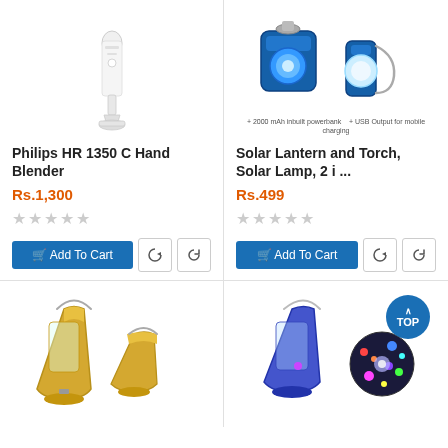[Figure (photo): Philips HR 1350 C Hand Blender product image, white handheld blender]
[Figure (photo): Solar Lantern and Torch, blue solar lamp 2-in-1, with text: +2000 mAh inbuilt powerbank, +USB Output for mobile charging]
Philips HR 1350 C Hand Blender
Rs.1,300
[Figure (other): 5 empty star rating icons]
Add To Cart
Solar Lantern and Torch, Solar Lamp, 2 i ...
Rs.499
[Figure (other): 5 empty star rating icons]
Add To Cart
[Figure (photo): Gold/brass solar lantern with handle, bottom row left product image]
[Figure (photo): Blue solar lantern with disco ball light effect, bottom row right product image]